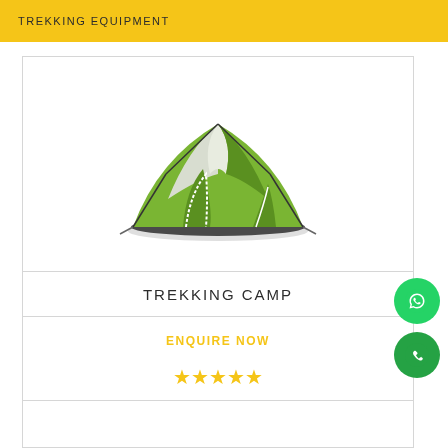TREKKING EQUIPMENT
[Figure (photo): A green and white dome camping tent on white background]
TREKKING CAMP
ENQUIRE NOW
★★★★★